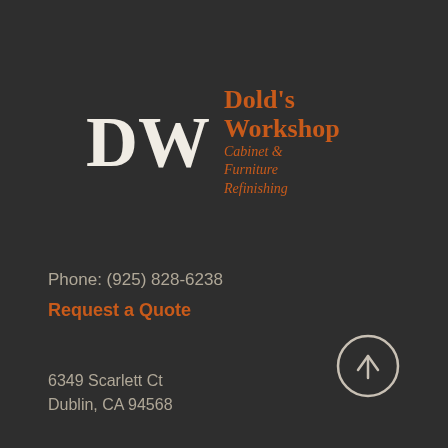[Figure (logo): DW logo with large serif DW letters and company name Dold's Workshop, Cabinet & Furniture Refinishing in orange italic text]
Phone: (925) 828-6238
Request a Quote
6349 Scarlett Ct
Dublin, CA 94568
[Figure (other): Circle with upward arrow icon (scroll to top button)]